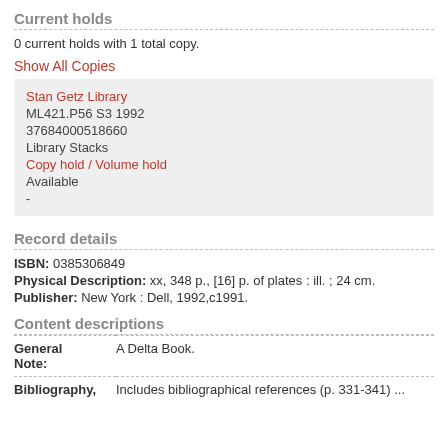Current holds
0 current holds with 1 total copy.
Show All Copies
| Stan Getz Library |
| ML421.P56 S3 1992 |
| 37684000518660 |
| Library Stacks |
| Copy hold / Volume hold |
| Available |
| - |
Record details
ISBN: 0385306849
Physical Description: xx, 348 p., [16] p. of plates : ill. ; 24 cm.
Publisher: New York : Dell, 1992,c1991.
Content descriptions
| Field | Value |
| --- | --- |
| General Note: | A Delta Book. |
| Bibliography, | Includes bibliographical references (p. 331-341) ... |